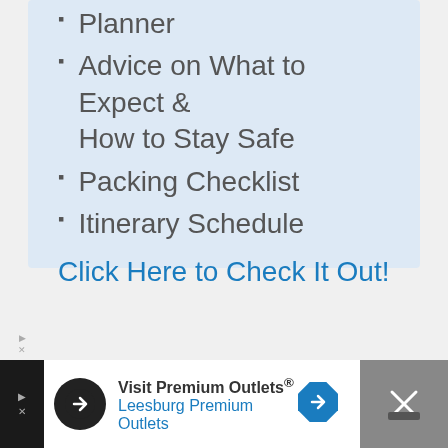Planner
Advice on What to Expect & How to Stay Safe
Packing Checklist
Itinerary Schedule
Click Here to Check It Out!
[Figure (other): Advertisement bar: Visit Premium Outlets® Leesburg Premium Outlets with logo, arrow icon, and close button]